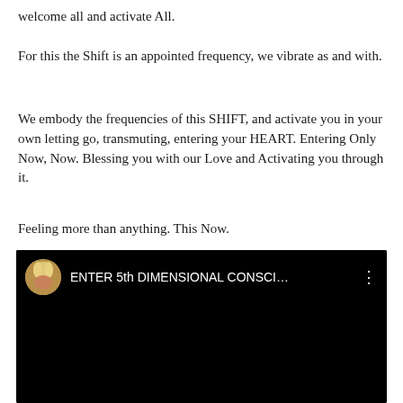welcome all and activate All.
For this the Shift is an appointed frequency, we vibrate as and with.
We embody the frequencies of this SHIFT, and activate you in your own letting go, transmuting, entering your HEART. Entering Only Now, Now. Blessing you with our Love and Activating you through it.
Feeling more than anything. This Now.
[Figure (screenshot): YouTube video thumbnail showing a blonde woman's avatar icon on the left and the title 'ENTER 5th DIMENSIONAL CONSCI...' in white text on a black background, with a three-dot menu icon on the right.]